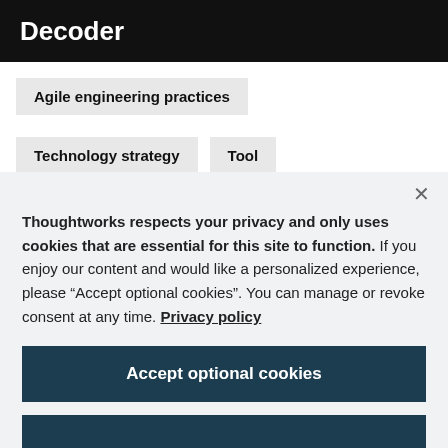Decoder
Agile engineering practices
Technology strategy   Tool
Thoughtworks respects your privacy and only uses cookies that are essential for this site to function. If you enjoy our content and would like a personalized experience, please “Accept optional cookies”. You can manage or revoke consent at any time. Privacy policy
Accept optional cookies
Manage preferences